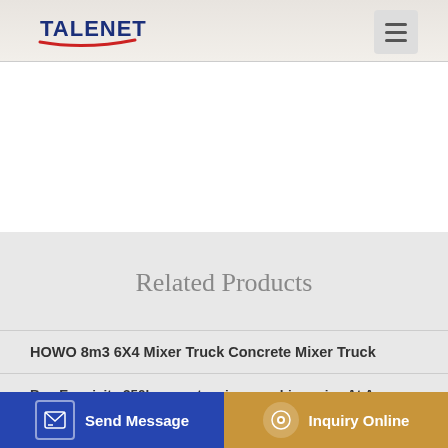TALENET
Related Products
HOWO 8m3 6X4 Mixer Truck Concrete Mixer Truck
Buy Exquisite 350l concrete mixer machine price At Awesome
Best 2 Concrete Pumping Contractors in Pinedale WY promotional batching plant 25m2 concrete machines